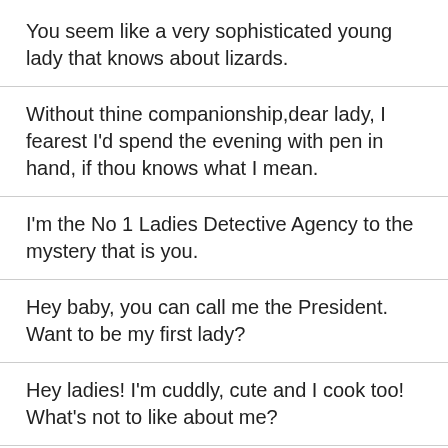You seem like a very sophisticated young lady that knows about lizards.
Without thine companionship,dear lady, I fearest I'd spend the evening with pen in hand, if thou knows what I mean.
I'm the No 1 Ladies Detective Agency to the mystery that is you.
Hey baby, you can call me the President. Want to be my first lady?
Hey ladies! I'm cuddly, cute and I cook too! What's not to like about me?